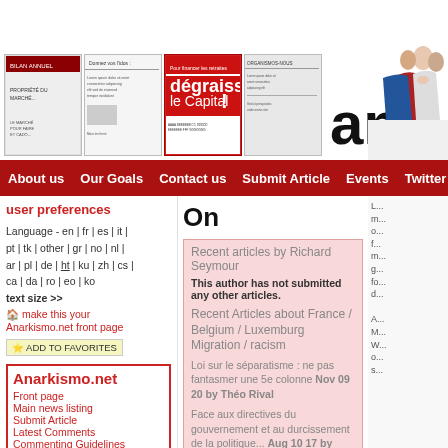[Figure (screenshot): Website header with four newspaper/leaflet thumbnail images and partial site logo 'ana' with silhouette of people]
About us  Our Goals  Contact us  Submit Article  Events  Twitter  Fa
user preferences
Language - en | fr | es | it | pt | tk | other | gr | no | nl | ar | pl | de | ht | ku | zh | cs | ca | da | ro | eo | ko
text size >>
make this your Anarkismo.net front page
ADD TO FAVORITES
Anarkismo.net
Front page
Main news listing
Submit Article
Latest Comments
Commenting Guidelines
Events
Photo Gallery
On
Recent articles by Richard Seymour
This author has not submitted any other articles.
Recent Articles about France / Belgium / Luxemburg Migration / racism
Loi sur le séparatisme : ne pas fantasmer une 5e colonne Nov 09 20 by Théo Rival
Face aux directives du gouvernement et au durcissement de la politique... Aug 10 17 by Relations Extérieures de la CGA
À Calais et partout ailleurs, solidarité avec les migrant... Oct 18 16 by Relations